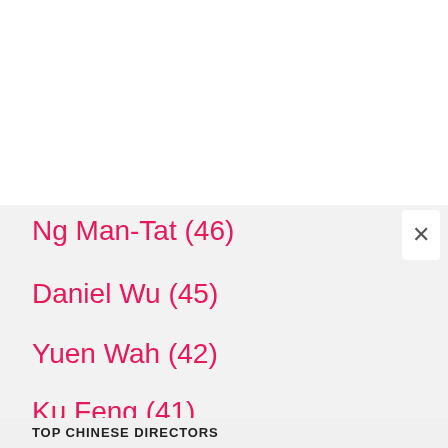Ng Man-Tat (46)
Daniel Wu (45)
Yuen Wah (42)
Ku Feng (41)
Donnie Yen (41)
Sam Lee (41)
Ken Lo (40)
View the complete list
TOP CHINESE DIRECTORS